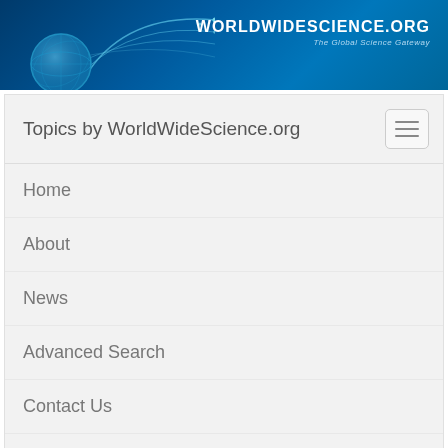[Figure (logo): WorldWideScience.org banner header with globe graphic, connecting lines, and site name/tagline on blue gradient background]
Topics by WorldWideScience.org
Home
About
News
Advanced Search
Contact Us
Site Map
Help
Sample records for translationally invariant pair